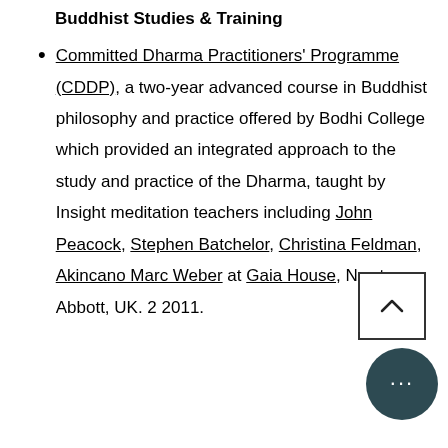Buddhist Studies & Training
Committed Dharma Practitioners' Programme (CDDP), a two-year advanced course in Buddhist philosophy and practice offered by Bodhi College which provided an integrated approach to the study and practice of the Dharma, taught by Insight meditation teachers including John Peacock, Stephen Batchelor, Christina Feldman, Akincano Marc Weber at Gaia House, Newton Abbott, UK. 2011.